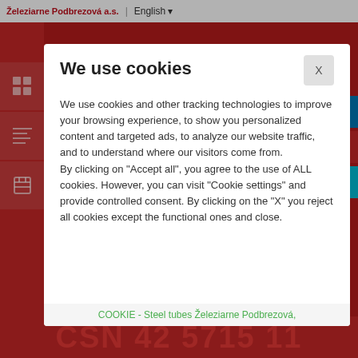Železiarne Podbrezová a.s. | English
We use cookies
We use cookies and other tracking technologies to improve your browsing experience, to show you personalized content and targeted ads, to analyze our website traffic, and to understand where our visitors come from.
By clicking on "Accept all", you agree to the use of ALL cookies. However, you can visit "Cookie settings" and provide controlled consent. By clicking on the "X" you reject all cookies except the functional ones and close.
COOKIE - Steel tubes Železiarne Podbrezová,
ČSN 42 5715 11